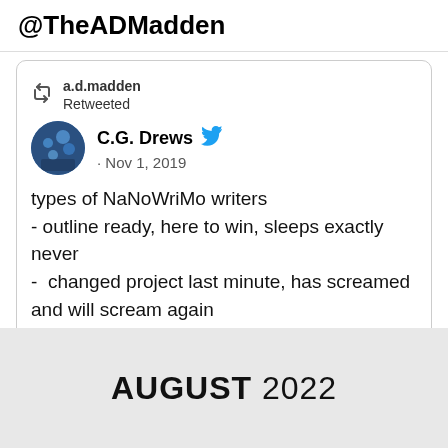@TheADMadden
a.d.madden Retweeted
C.G. Drews · Nov 1, 2019
types of NaNoWriMo writers
- outline ready, here to win, sleeps exactly never
-  changed project last minute, has screamed and will scream again
- hasn't got a plot but has snacks which is kind of the same thing
- just a pile of typos in a
AUGUST 2022